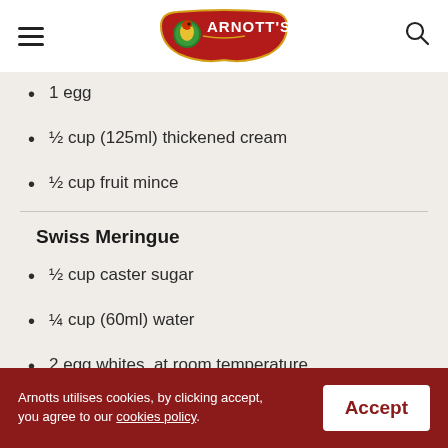Arnott's
1 egg
½ cup (125ml) thickened cream
½ cup fruit mince
Swiss Meringue
½ cup caster sugar
¼ cup (60ml) water
2 egg whites, at room temperature
Arnotts utilises cookies, by clicking accept, you agree to our cookies policy.